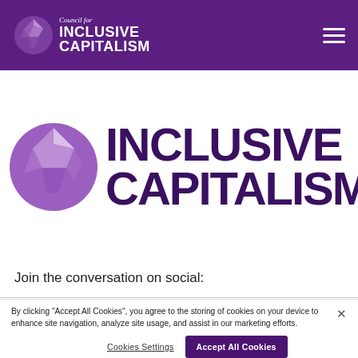Council for Inclusive Capitalism
[Figure (logo): Council for Inclusive Capitalism logo with globe and text on purple header bar]
INCLUSIVE CAPITALISM
Join the conversation on social:
By clicking "Accept All Cookies", you agree to the storing of cookies on your device to enhance site navigation, analyze site usage, and assist in our marketing efforts.
Cookies Settings | Accept All Cookies